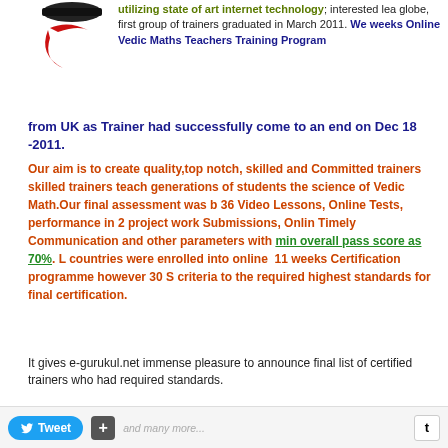[Figure (logo): e-gurukul logo with red swoosh and hat]
utilizing state of art internet technology; interested learners globe, first group of trainers graduated in March 2011. We weeks Online Vedic Maths Teachers Training Program from UK as Trainer had successfully come to an end on Dec 18 -2011.
Our aim is to create quality,top notch, skilled and Committed trainers skilled trainers teach generations of students the science of Vedic Math.Our final assessment was based on 36 Video Lessons, Online Tests, performance in 2 project work Submissions, Online Timely Communication and other parameters with min overall pass score as 70%. Learners from countries were enrolled into online 11 weeks Certification programme however 30 S met criteria to the required highest standards for final certification.
It gives e-gurukul.net immense pleasure to announce final list of certified trainers who had met required standards.
[Figure (photo): Placeholder image (broken image icon)]
We are extremely delighted to share
30 Students from 27 cities spread across continents had successfully completed to the standards.
Students age range from 26 to 66.
Occupations – Phd's, Math Teachers professionals, Environmental Engineers